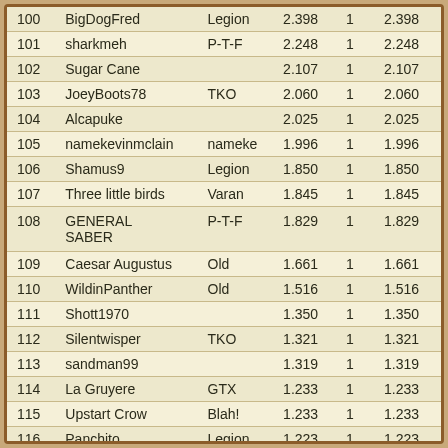| # | Name | Clan | Score | Wins | Total |
| --- | --- | --- | --- | --- | --- |
| 100 | BigDogFred | Legion | 2.398 | 1 | 2.398 |
| 101 | sharkmeh | P-T-F | 2.248 | 1 | 2.248 |
| 102 | Sugar Cane |  | 2.107 | 1 | 2.107 |
| 103 | JoeyBoots78 | TKO | 2.060 | 1 | 2.060 |
| 104 | Alcapuke |  | 2.025 | 1 | 2.025 |
| 105 | namekevinmclain | nameke | 1.996 | 1 | 1.996 |
| 106 | Shamus9 | Legion | 1.850 | 1 | 1.850 |
| 107 | Three little birds | Varan | 1.845 | 1 | 1.845 |
| 108 | GENERAL SABER | P-T-F | 1.829 | 1 | 1.829 |
| 109 | Caesar Augustus | Old | 1.661 | 1 | 1.661 |
| 110 | WildinPanther | Old | 1.516 | 1 | 1.516 |
| 111 | Shott1970 |  | 1.350 | 1 | 1.350 |
| 112 | Silentwisper | TKO | 1.321 | 1 | 1.321 |
| 113 | sandman99 |  | 1.319 | 1 | 1.319 |
| 114 | La Gruyere | GTX | 1.233 | 1 | 1.233 |
| 115 | Upstart Crow | Blah! | 1.233 | 1 | 1.233 |
| 116 | Panchito | Legion | 1.223 | 1 | 1.223 |
| 117 | jessicarbt | DRUIDS | 1.071 | 1 | 1.071 |
| 118 | Tybowls | Old | 1.069 | 1 | 1.069 |